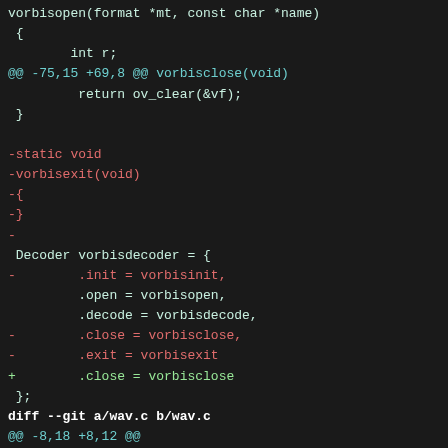[Figure (screenshot): A dark-themed terminal/code diff view showing a git diff of C source files (vorbis decoder and wav.c), with removed lines in red and added lines in green, hunk headers in cyan, and a bold diff header line.]